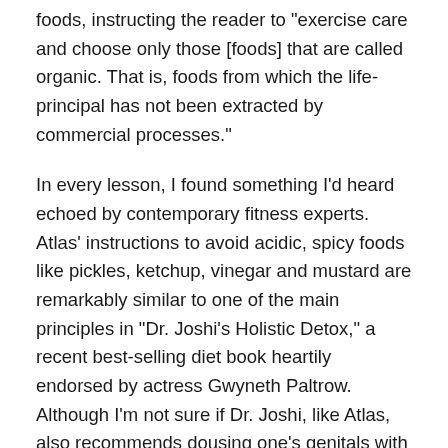foods, instructing the reader to "exercise care and choose only those [foods] that are called organic. That is, foods from which the life-principal has not been extracted by commercial processes."
In every lesson, I found something I'd heard echoed by contemporary fitness experts. Atlas' instructions to avoid acidic, spicy foods like pickles, ketchup, vinegar and mustard are remarkably similar to one of the main principles in "Dr. Joshi's Holistic Detox," a recent best-selling diet book heartily endorsed by actress Gwyneth Paltrow. Although I'm not sure if Dr. Joshi, like Atlas, also recommends dousing one's genitals with icy water each morning until you experience a "pleasant warm glow in that region."